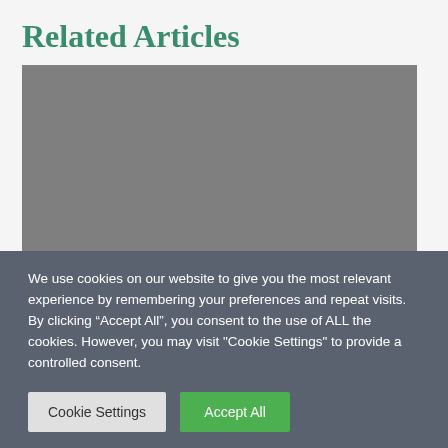Related Articles
[Figure (other): Gray image placeholder rectangle for a related article thumbnail]
We use cookies on our website to give you the most relevant experience by remembering your preferences and repeat visits. By clicking “Accept All”, you consent to the use of ALL the cookies. However, you may visit "Cookie Settings" to provide a controlled consent.
Cookie Settings
Accept All